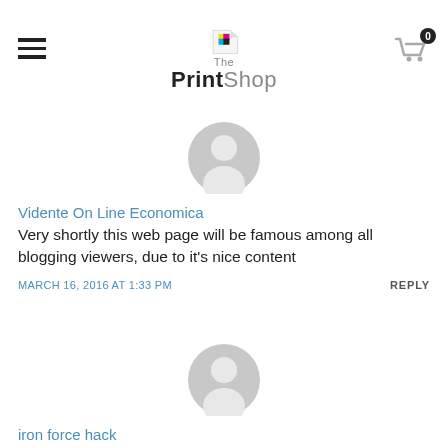The Print Shop
[Figure (illustration): Default user avatar placeholder (grey circle silhouette)]
Vidente On Line Economica
Very shortly this web page will be famous among all blogging viewers, due to it's nice content
MARCH 16, 2016 AT 1:33 PM    REPLY
[Figure (illustration): Default user avatar placeholder (grey circle silhouette)]
iron force hack
I'm amazed, I must say. Seldom do I come across a blog that's both equally educative and amusing, and let me tell you, you